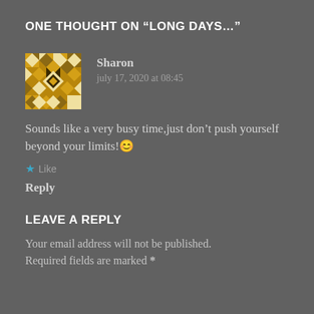ONE THOUGHT ON “LONG DAYS…”
Sharon
july 17, 2020 at 08:45
Sounds like a very busy time,just don’t push yourself beyond your limits!😊
★ Like
Reply
LEAVE A REPLY
Your email address will not be published. Required fields are marked *